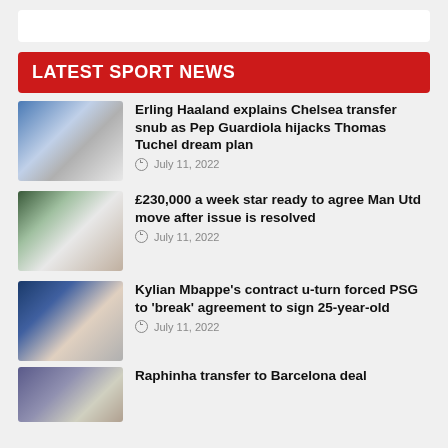LATEST SPORT NEWS
Erling Haaland explains Chelsea transfer snub as Pep Guardiola hijacks Thomas Tuchel dream plan
July 11, 2022
£230,000 a week star ready to agree Man Utd move after issue is resolved
July 11, 2022
Kylian Mbappe's contract u-turn forced PSG to 'break' agreement to sign 25-year-old
July 11, 2022
Raphinha transfer to Barcelona deal